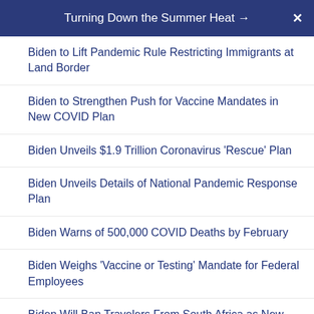Turning Down the Summer Heat →
Biden to Lift Pandemic Rule Restricting Immigrants at Land Border
Biden to Strengthen Push for Vaccine Mandates in New COVID Plan
Biden Unveils $1.9 Trillion Coronavirus 'Rescue' Plan
Biden Unveils Details of National Pandemic Response Plan
Biden Warns of 500,000 COVID Deaths by February
Biden Weighs 'Vaccine or Testing' Mandate for Federal Employees
Biden Will Ban Travelers From South Africa as New COVID Variants Spread
Biden, Top Health Officials Warn of Risk of Another COVID Surge
Big Rise in Injuries From E-Scooters, Hoverboards